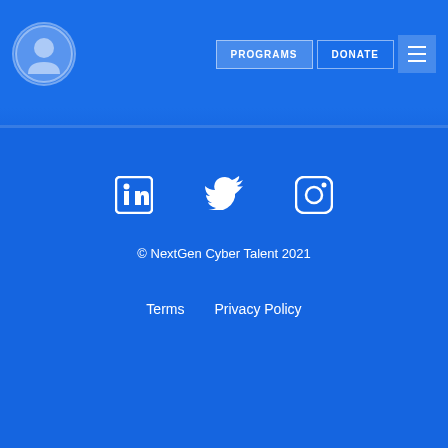[Figure (screenshot): Top navigation bar with logo, PROGRAMS button, DONATE button, and hamburger menu on blue background]
NextGen Cyber Talent Inc.
999 West Taylor Street,
Suite A
San Jose, CA 95126
contactus@nextgencybertalent.com
DONATE
[Figure (illustration): Social media icons: LinkedIn, Twitter, Instagram]
© NextGen Cyber Talent 2021
Terms    Privacy Policy